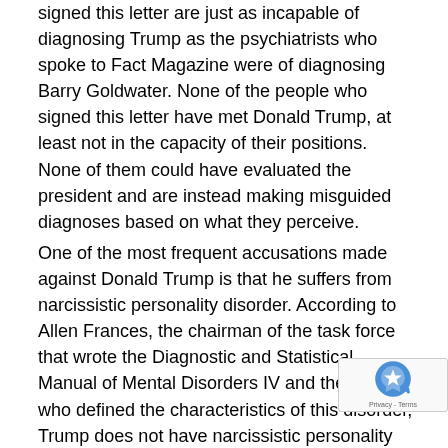signed this letter are just as incapable of diagnosing Trump as the psychiatrists who spoke to Fact Magazine were of diagnosing Barry Goldwater. None of the people who signed this letter have met Donald Trump, at least not in the capacity of their positions. None of them could have evaluated the president and are instead making misguided diagnoses based on what they perceive.
One of the most frequent accusations made against Donald Trump is that he suffers from narcissistic personality disorder. According to Allen Frances, the chairman of the task force that wrote the Diagnostic and Statistical Manual of Mental Disorders IV and the man who defined the characteristics of this disorder, Trump does not have narcissistic personality disorder (The Independent, “The Psychiatrist Who Wrote the Definition of Narcissistic Personality Disorder Says Trump Doesn't Have It,” 02.15.2017).